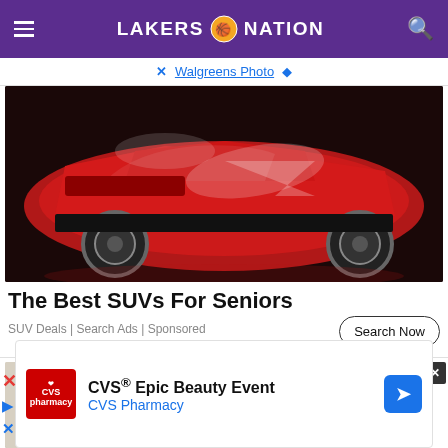LAKERS NATION
Walgreens Photo
[Figure (photo): Red SUV car side view on dark background]
The Best SUVs For Seniors
SUV Deals | Search Ads | Sponsored
Search Now
[Figure (photo): Steering wheel close-up photo]
[Figure (screenshot): CVS Epic Beauty Event advertisement overlay with CVS Pharmacy logo]